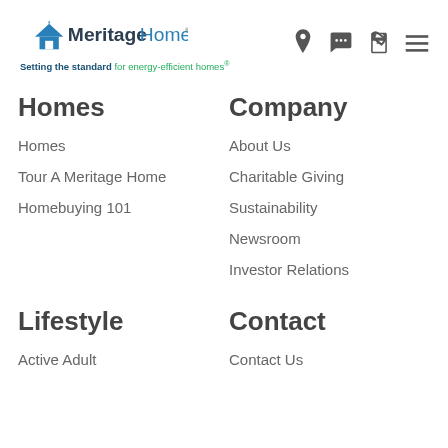[Figure (logo): Meritage Homes logo with house icon and blue/teal wordmark]
Setting the standard for energy-efficient homes®
Homes
Homes
Tour A Meritage Home
Homebuying 101
Company
About Us
Charitable Giving
Sustainability
Newsroom
Investor Relations
Lifestyle
Active Adult
Contact
Contact Us